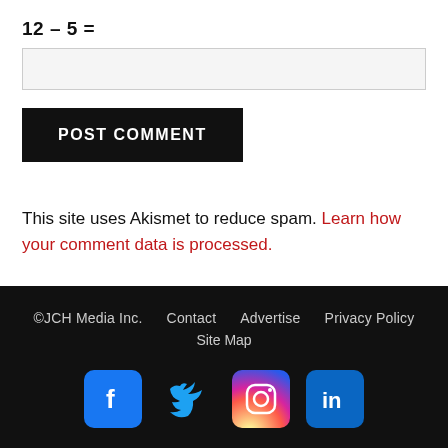POST COMMENT
This site uses Akismet to reduce spam. Learn how your comment data is processed.
©JCH Media Inc.  Contact  Advertise  Privacy Policy  Site Map